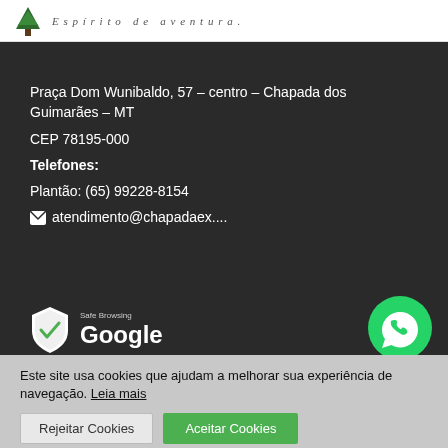Espírito de aventura.
Praça Dom Wunibaldo, 57 – centro – Chapada dos Guimarães – MT
CEP 78195-000
Telefones:
Plantão: (65) 99228-8154
atendimento@chapadaex....
[Figure (logo): Google Safe Browsing badge with shield icon and Google logo]
[Figure (logo): WhatsApp green circular icon]
Este site usa cookies que ajudam a melhorar sua experiência de navegação. Leia mais
Rejeitar Cookies  Aceitar Cookies